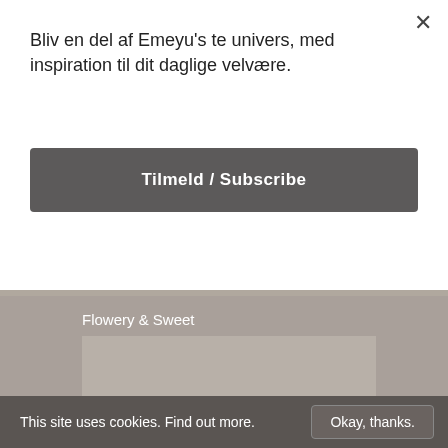Bliv en del af Emeyu's te univers, med inspiration til dit daglige velvære.
Tilmeld / Subscribe
Flowery & Sweet
[Figure (photo): Gray background section with product card placeholder]
This site uses cookies. Find out more.
Okay, thanks.